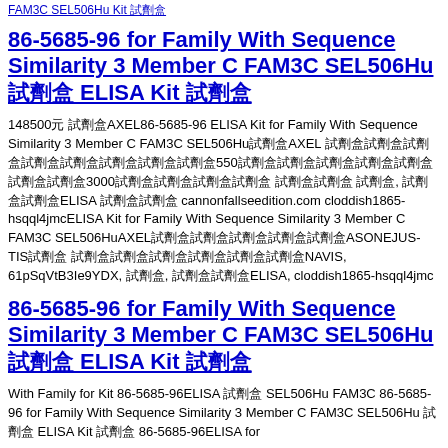FAM3C SEL506Hu Kit 試劑盒
86-5685-96 for Family With Sequence Similarity 3 Member C FAM3C SEL506Hu 試劑盒 ELISA Kit 試劑盒
148500元 試劑盒AXEL86-5685-96 ELISA Kit for Family With Sequence Similarity 3 Member C FAM3C SEL506Hu試劑盒AXEL 試劑盒試劑盒試劑盒試劑盒試劑盒試劑盒試劑盒試劑盒550試劑盒試劑盒試劑盒試劑盒試劑盒試劑盒試劑盒3000試劑盒試劑盒試劑盒試劑盒 試劑盒試劑盒 試劑盒, 試劑盒試劑盒ELISA 試劑盒試劑盒 cannonfallseedition.com cloddish1865-hsqql4jmcELISA Kit for Family With Sequence Similarity 3 Member C FAM3C SEL506HuAXEL試劑盒試劑盒試劑盒試劑盒試劑盒ASONEJUS-TIS試劑盒試劑盒試劑盒試劑盒試劑盒試劑盒NAVIS, 61pSqVtB3Ie9YDX, 試劑盒, 試劑盒試劑盒ELISA, cloddish1865-hsqql4jmc
86-5685-96 for Family With Sequence Similarity 3 Member C FAM3C SEL506Hu 試劑盒 ELISA Kit 試劑盒
With Family for Kit 86-5685-96ELISA 試劑盒 SEL506Hu FAM3C 86-5685-96 for Family With Sequence Similarity 3 Member C FAM3C SEL506Hu 試劑盒 ELISA Kit 試劑盒 86-5685-96ELISA for